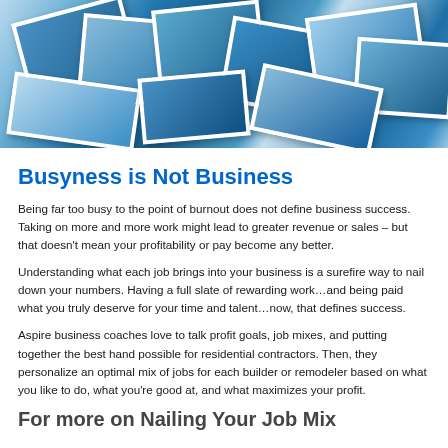[Figure (photo): Overhead photo of scattered polaroid/printed photos spread on a surface, featuring blue-toned images]
Busyness is Not Business
Being far too busy to the point of burnout does not define business success. Taking on more and more work might lead to greater revenue or sales – but that doesn't mean your profitability or pay become any better.
Understanding what each job brings into your business is a surefire way to nail down your numbers. Having a full slate of rewarding work…and being paid what you truly deserve for your time and talent…now, that defines success.
Aspire business coaches love to talk profit goals, job mixes, and putting together the best hand possible for residential contractors. Then, they personalize an optimal mix of jobs for each builder or remodeler based on what you like to do, what you're good at, and what maximizes your profit.
For more on Nailing Your Job Mix